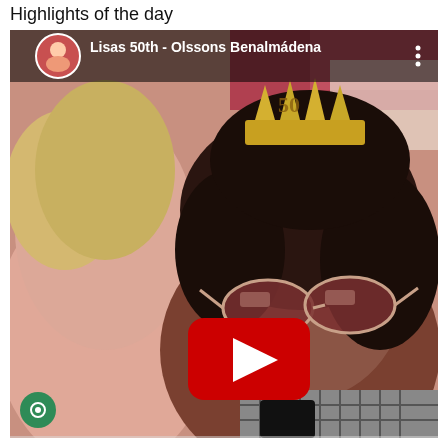Highlights of the day
[Figure (screenshot): YouTube video thumbnail embedded in a webpage showing two women taking a selfie outdoors. The woman on the left has blonde hair and the woman on the right has dark curly hair wearing sunglasses and a gold '50' birthday crown/tiara. The video title reads 'Lisas 50th - Olssons Benalmádena'. A large red YouTube play button is centered on the image. A small circular chat/messenger icon is visible in the bottom-left corner of the page.]